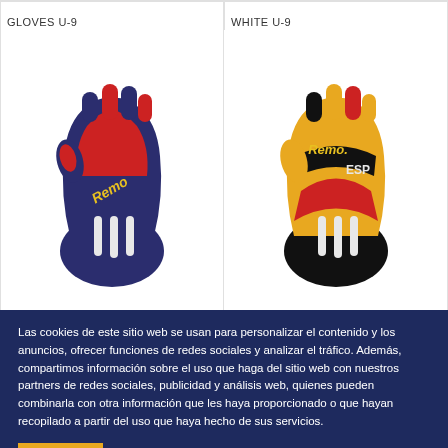GLOVES U-9
WHITE U-9
[Figure (photo): Blue, red and white Remo hockey glove, front view, on white background]
[Figure (photo): Yellow, red and black Remo ESP hockey glove, front view, on white background]
Las cookies de este sitio web se usan para personalizar el contenido y los anuncios, ofrecer funciones de redes sociales y analizar el tráfico. Además, compartimos información sobre el uso que haga del sitio web con nuestros partners de redes sociales, publicidad y análisis web, quienes pueden combinarla con otra información que les haya proporcionado o que hayan recopilado a partir del uso que haya hecho de sus servicios.
Accept